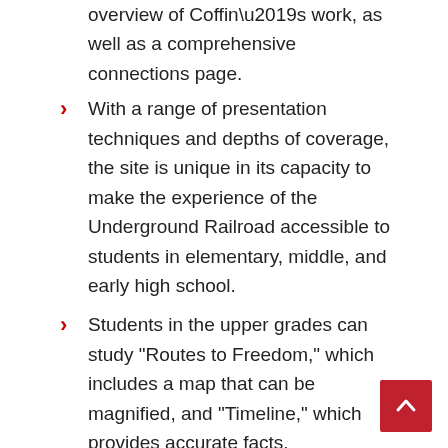overview of Coffin’s work, as well as a comprehensive connections page.
With a range of presentation techniques and depths of coverage, the site is unique in its capacity to make the experience of the Underground Railroad accessible to students in elementary, middle, and early high school.
Students in the upper grades can study “Routes to Freedom,” which includes a map that can be magnified, and “Timeline,” which provides accurate facts.
In the “For Kids” section, young